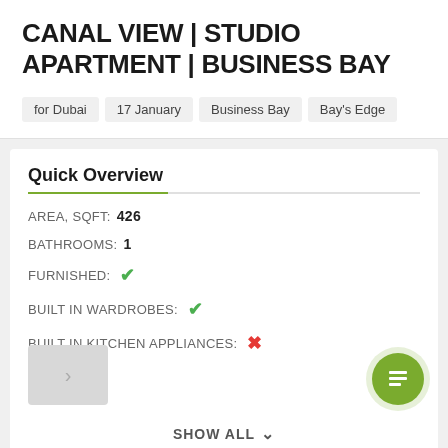CANAL VIEW | STUDIO APARTMENT | BUSINESS BAY
for Dubai
17 January
Business Bay
Bay's Edge
Quick Overview
AREA, SQFT: 426
BATHROOMS: 1
FURNISHED: ✓
BUILT IN WARDROBES: ✓
BUILT IN KITCHEN APPLIANCES: ✗
SHOW ALL